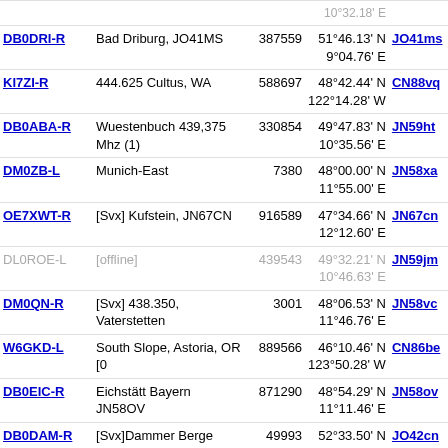| Callsign | Description | Node | Coordinates | Grid |
| --- | --- | --- | --- | --- |
| DB0DRI-R | Bad Driburg, JO41MS | 387559 | 51°46.13' N
9°04.76' E | JO41ms |
| KI7ZI-R | 444.625 Cultus, WA | 588697 | 48°42.44' N
122°14.28' W | CN88vq |
| DB0ABA-R | Wuestenbuch 439,375 Mhz (1) | 330854 | 49°47.83' N
10°35.56' E | JN59ht |
| DM0ZB-L | Munich-East | 7380 | 48°00.00' N
11°55.00' E | JN58xa |
| OE7XWT-R | [Svx] Kufstein, JN67CN | 916589 | 47°34.66' N
12°12.60' E | JN67cn |
| DL0ROE-L | [offline] | 439543 | 49°32.21' N
10°46.63' E | JN59jm |
| DM0QN-R | [Svx] 438.350, Vaterstetten | 3001 | 48°06.53' N
11°46.76' E | JN58vc |
| W6GKD-L | South Slope, Astoria, OR [0 | 889566 | 46°10.46' N
123°50.28' W | CN86be |
| DB0EIC-R | Eichstätt Bayern JN58OV | 871290 | 48°54.29' N
11°11.46' E | JN58ov |
| DB0DAM-R | [Svx]Dammer Berge 438.7125 | 49993 | 52°33.50' N
8°12.65' E | JO42cn |
| W7BU-R | Astoria - Oregon | 309724 | 46°07.63' N
123°50.94' W | CN86bd |
| WA7VE-R | City of Seaside | 449568 | 45°57.15' N
123°55.68' W | CN85aw |
| DB0OX-R | [Svx] Norden 438.700 | 764497 | 53°35.43' N
7°11.51' E | JO33oo |